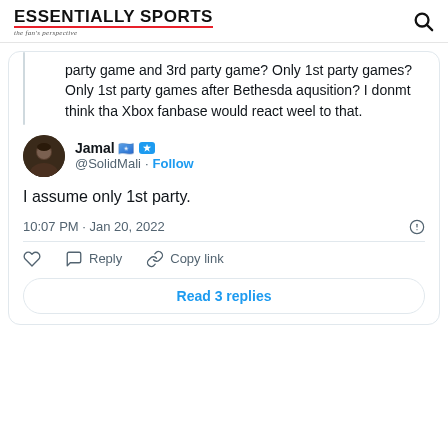ESSENTIALLY SPORTS - the fan's perspective
party game and 3rd party game? Only 1st party games? Only 1st party games after Bethesda aqusition? I donmt think tha Xbox fanbase would react weel to that.
Jamal 🇸🇴 @SolidMali · Follow
I assume only 1st party.
10:07 PM · Jan 20, 2022
Reply · Copy link
Read 3 replies